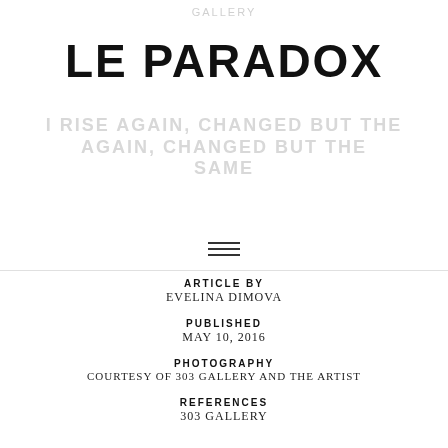GALLERY
LE PARADOX
I RISE AGAIN, CHANGED BUT THE SAME (ghost/background text)
ARTICLE BY
EVELINA DIMOVA
PUBLISHED
MAY 10, 2016
PHOTOGRAPHY
COURTESY OF 303 GALLERY AND THE ARTIST
REFERENCES
303 GALLERY
INFORMATION
ALICJA KWADE
I RISE AGAIN, CHANGED BUT THE SAME
303 GALLERY – 555 W 21ST STREET
MAY 7 – JUNE 30, 2016
SPECIAL THANKS
303 GALLERY